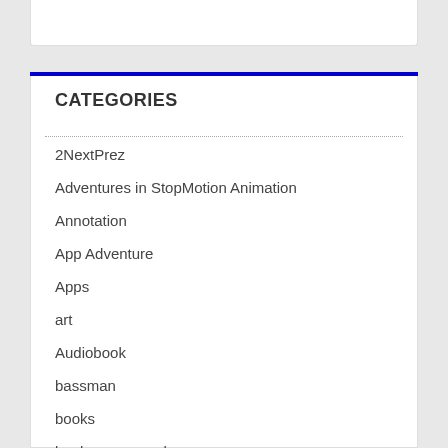CATEGORIES
2NextPrez
Adventures in StopMotion Animation
Annotation
App Adventure
Apps
art
Audiobook
bassman
books
boolean squared
CCourses